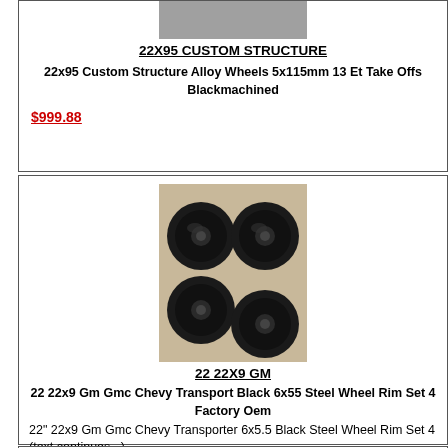[Figure (photo): Partial product photo at top of first card]
22X95 CUSTOM STRUCTURE
22x95 Custom Structure Alloy Wheels 5x115mm 13 Et Take Offs Blackmachined
$999.88
[Figure (photo): Four black steel wheel rims arranged in a 2x2 grid on a wooden surface]
22 22X9 GM
22 22x9 Gm Gmc Chevy Transport Black 6x55 Steel Wheel Rim Set 4 Factory Oem
22" 22x9 Gm Gmc Chevy Transporter 6x5.5 Black Steel Wheel Rim Set 4 (text cut off)
$975.00